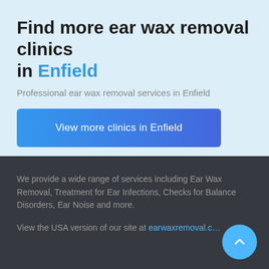Find more ear wax removal clinics in Enfield
Professional ear wax removal services in Enfield
View more clinics in Enfield
We provide a wide range of services including Ear Wax Removal, Treatment for Ear Infections, Checks for Balance Disorders, Ear Noise and more.
View the USA version of our site at earwaxremoval.c…